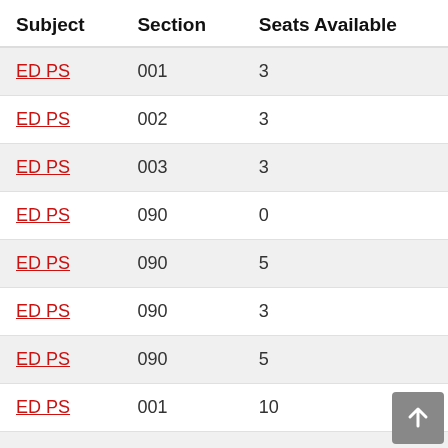| Subject | Section | Seats Available |
| --- | --- | --- |
| ED PS | 001 | 3 |
| ED PS | 002 | 3 |
| ED PS | 003 | 3 |
| ED PS | 090 | 0 |
| ED PS | 090 | 5 |
| ED PS | 090 | 3 |
| ED PS | 090 | 5 |
| ED PS | 001 | 10 |
| ED PS | 002 | 21 |
| ED PS | 003 | 13 |